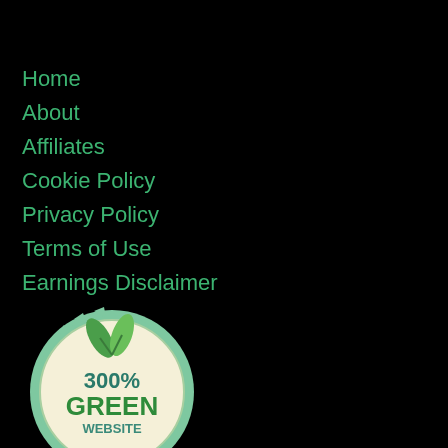Home
About
Affiliates
Cookie Policy
Privacy Policy
Terms of Use
Earnings Disclaimer
[Figure (logo): 300% Green Website badge: a circular seal with a cream/beige background, teal/green serrated border, two green leaves at the top, and text reading '300%' in dark teal, 'GREEN' in bold green, and 'WEBSITE' in smaller teal text below.]